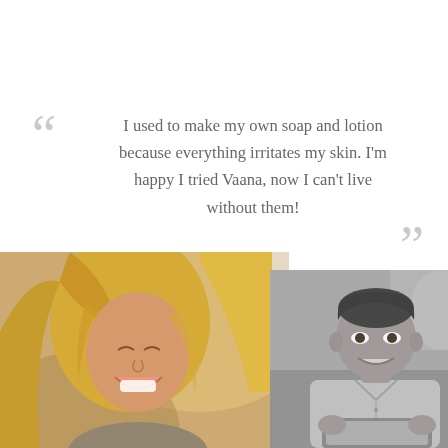I used to make my own soap and lotion because everything irritates my skin. I'm happy I tried Vaana, now I can't live without them!
[Figure (photo): Woman with blonde hair laughing outdoors in warm sunlight]
[Figure (photo): Man smiling while looking at a tablet, black and white photo]